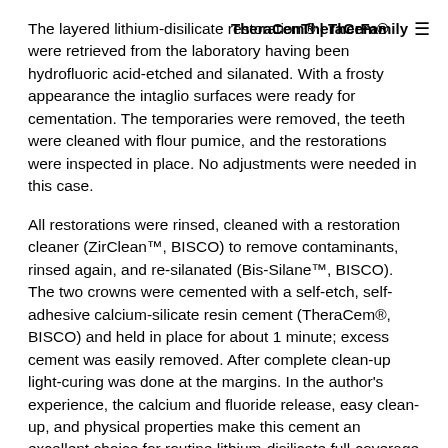TheraCem® | TherFamily ≡
The layered lithium-disilicate restorations were retrieved from the laboratory having been hydrofluoric acid-etched and silanated. With a frosty appearance the intaglio surfaces were ready for cementation. The temporaries were removed, the teeth were cleaned with flour pumice, and the restorations were inspected in place. No adjustments were needed in this case.
All restorations were rinsed, cleaned with a restoration cleaner (ZirClean™, BISCO) to remove contaminants, rinsed again, and re-silanated (Bis-Silane™, BISCO). The two crowns were cemented with a self-etch, self-adhesive calcium-silicate resin cement (TheraCem®, BISCO) and held in place for about 1 minute; excess cement was easily removed. After complete clean-up light-curing was done at the margins. In the author's experience, the calcium and fluoride release, easy clean-up, and physical properties make this cement an excellent choice for routine lithium-disilicate full-coverage placement.
This self-etch, self-adhesive cement is available in a